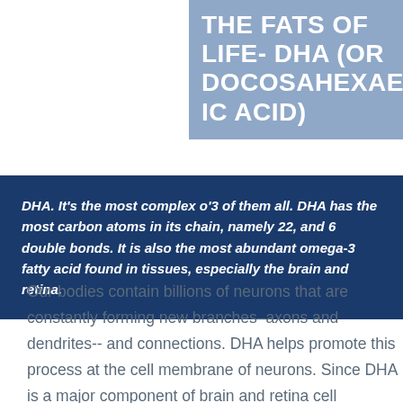THE FATS OF LIFE- DHA (OR DOCOSAHEXAENOIC ACID)
DHA. It's the most complex o'3 of them all. DHA has the most carbon atoms in its chain, namely 22, and 6 double bonds. It is also the most abundant omega-3 fatty acid found in tissues, especially the brain and retina.
Our bodies contain billions of neurons that are constantly forming new branches–axons and dendrites-- and connections. DHA helps promote this process at the cell membrane of neurons. Since DHA is a major component of brain and retina cell